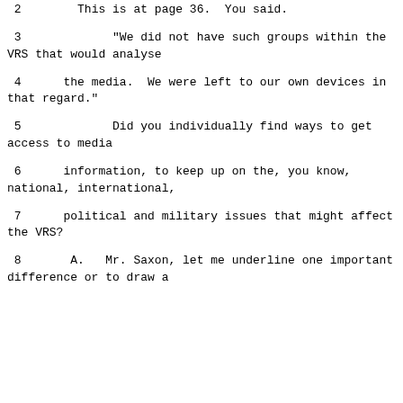2        This is at page 36.  You said.
3             "We did not have such groups within the VRS that would analyse
4      the media.  We were left to our own devices in that regard."
5             Did you individually find ways to get access to media
6      information, to keep up on the, you know, national, international,
7      political and military issues that might affect the VRS?
8       A.   Mr. Saxon, let me underline one important difference or to draw a